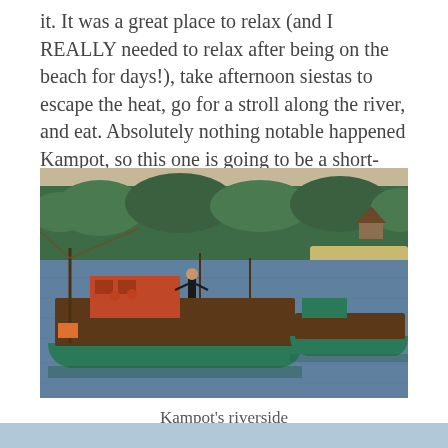it.  It was a great place to relax (and I REALLY needed to relax after being on the beach for days!), take afternoon siestas to escape the heat, go for a stroll along the river, and eat.  Absolutely nothing notable happened Kampot, so this one is going to be a short-but-sweet photo story.  Enjoy!
[Figure (photo): A photograph of fishing boats on a river near Kampot, Cambodia. Two teal/green wooden fishing boats are visible on calm blue-grey water. A person stands on the main boat. In the background is a dense treeline with tropical trees, a sandy beach strip, and a thatched hut structure on the right side.]
Kampot's riverside